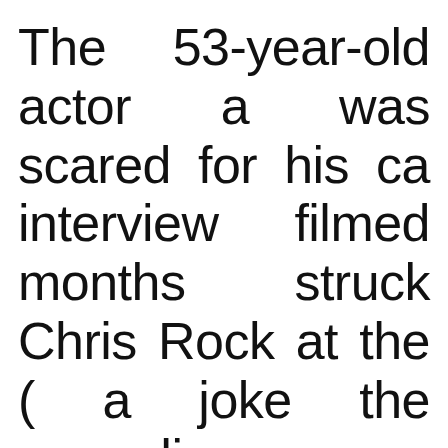The 53-year-old actor a was scared for his ca interview filmed months struck Chris Rock at the ( a joke the comedian mac wife Jada Pinkett Smith fear came while he was influence of the psychoa drink